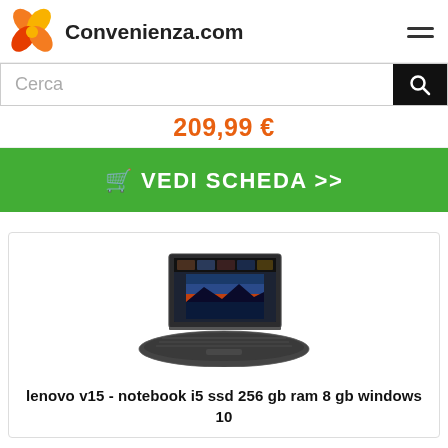Convenienza.com
Cerca
209,99 €
🛒 VEDI SCHEDA >>
[Figure (photo): Lenovo V15 laptop open, showing screen with photo editing software, dark gray body]
lenovo v15 - notebook i5 ssd 256 gb ram 8 gb windows 10